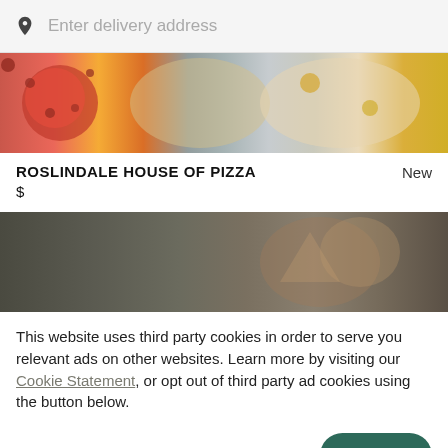[Figure (screenshot): Search bar with location pin icon and 'Enter delivery address' placeholder text on light grey background]
[Figure (photo): Top food photo showing pizza and other food items with warm red and orange tones]
ROSLINDALE HOUSE OF PIZZA
New
$
[Figure (photo): Bottom food photo with dark brownish tones, partially visible food item]
This website uses third party cookies in order to serve you relevant ads on other websites. Learn more by visiting our Cookie Statement, or opt out of third party ad cookies using the button below.
OPT OUT
GOT IT